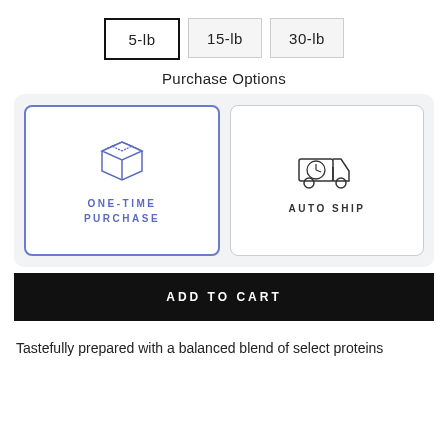5-lb
15-lb
30-lb
Purchase Options
[Figure (illustration): Two purchase option cards inside a rounded container: 'ONE-TIME PURCHASE' (selected, blue border, open box icon in blue) and 'AUTO SHIP' (unselected, delivery truck with clock icon in dark gray)]
ADD TO CART
Tastefully prepared with a balanced blend of select proteins